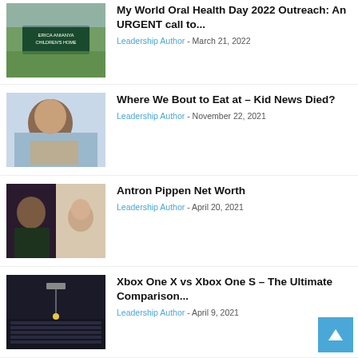[Figure (photo): Sign for Erica Anianya Children's Home outdoors with green plants]
My World Oral Health Day 2022 Outreach: An URGENT call to...
Leadership Author - March 21, 2022
[Figure (photo): Young child wrapped in cloth/blanket]
Where We Bout to Eat at – Kid News Died?
Leadership Author - November 22, 2021
[Figure (photo): Collage of people photos - Antron Pippen related]
Antron Pippen Net Worth
Leadership Author - April 20, 2021
[Figure (photo): Indoor arena/stadium seating]
Xbox One X vs Xbox One S – The Ultimate Comparison...
Leadership Author - April 9, 2021